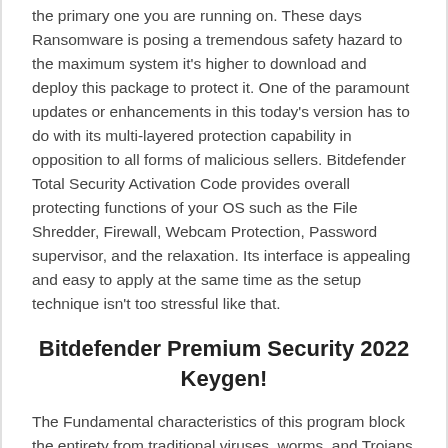the primary one you are running on. These days Ransomware is posing a tremendous safety hazard to the maximum system it's higher to download and deploy this package to protect it. One of the paramount updates or enhancements in this today's version has to do with its multi-layered protection capability in opposition to all forms of malicious sellers. Bitdefender Total Security Activation Code provides overall protecting functions of your OS such as the File Shredder, Firewall, Webcam Protection, Password supervisor, and the relaxation. Its interface is appealing and easy to apply at the same time as the setup technique isn't too stressful like that.
Bitdefender Premium Security 2022 Keygen!
The Fundamental characteristics of this program block the entirety from traditional viruses, worms, and Trojans to ransomware, rootkits, and spyware. The Behavioural detection technology acts as a further protecting layer using continually tracking energetic applications and tagging